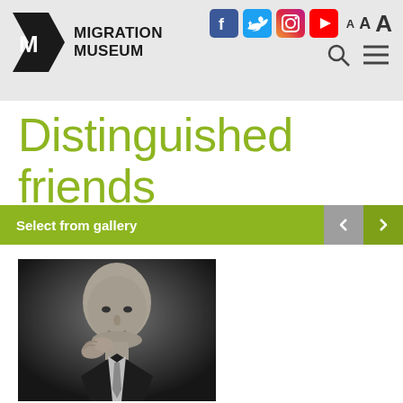Migration Museum
Distinguished friends
Select from gallery
[Figure (photo): Black and white portrait photo of a bald man in a suit and tie, holding his hands together near his face, looking thoughtfully at the camera.]